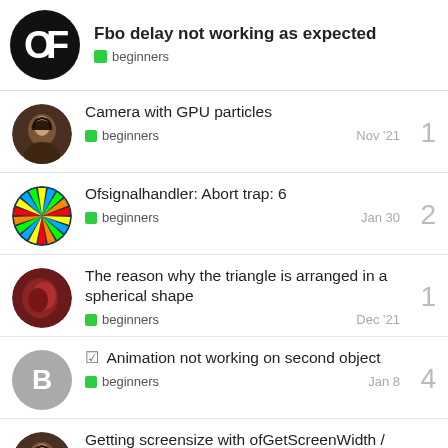Fbo delay not working as expected — beginners
Camera with GPU particles — beginners — Nov '21 — 1
Ofsignalhandler: Abort trap: 6 — beginners — Jan 30 — 2
The reason why the triangle is arranged in a spherical shape — beginners — Dec '21 — 1
☑ Animation not working on second object — beginners — Jan 8 — 4
Getting screensize with ofGetScreenWidth / ofGetScreenHeight crashes — beginners — Feb 3 — 1